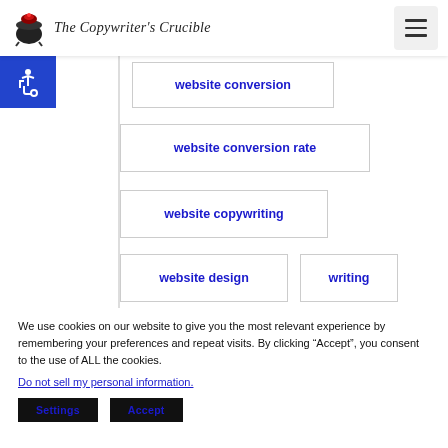The Copywriter's Crucible
[Figure (infographic): Tag cloud showing keyword boxes: 'website conversion', 'website conversion rate', 'website copywriting', 'website design', 'writing' — each in bold blue text inside bordered rectangles]
We use cookies on our website to give you the most relevant experience by remembering your preferences and repeat visits. By clicking "Accept", you consent to the use of ALL the cookies.
Do not sell my personal information.
Settings  Accept